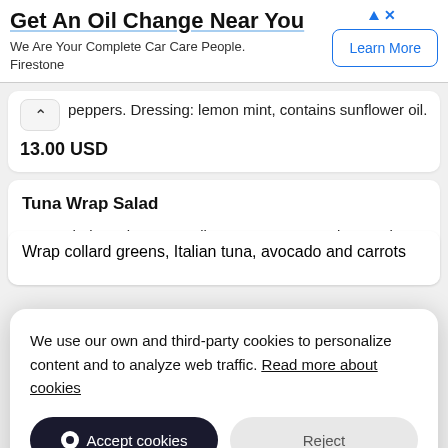[Figure (screenshot): Advertisement banner: 'Get An Oil Change Near You' - Firestone ad with Learn More button]
peppers. Dressing: lemon mint, contains sunflower oil.
13.00 USD
Tuna Wrap Salad
Wrap whole grain wrap, Italian tuna, carrots and avocado. Salad lettuce, carrots, beets and radish. Dressing:
We use our own and third-party cookies to personalize content and to analyze web traffic. Read more about cookies
Accept cookies
Reject
Wrap collard greens, Italian tuna, avocado and carrots